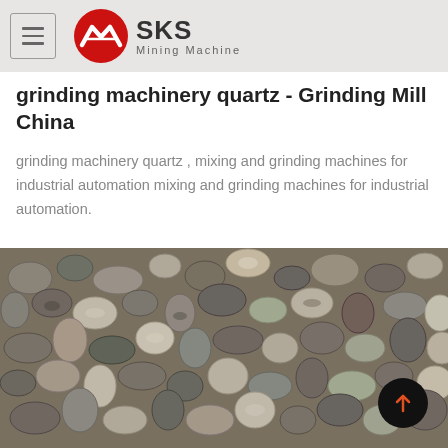SKS Mining Machine
grinding machinery quartz - Grinding Mill China
grinding machinery quartz , mixing and grinding machines for industrial automation mixing and grinding machines for industrial automation.
[Figure (photo): Close-up photo of crushed stone and gravel aggregate, various grey, brown, and beige colored rocks piled together.]